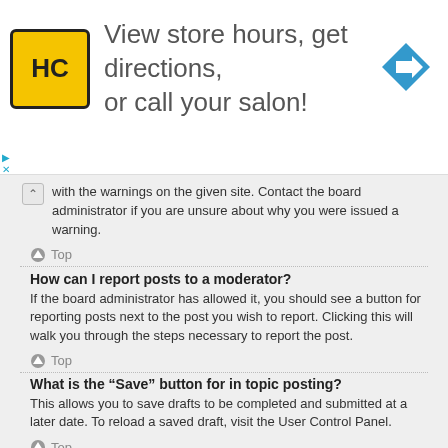[Figure (infographic): Advertisement banner for a salon locator service. Shows HC logo in yellow/black, text 'View store hours, get directions, or call your salon!', and a blue navigation arrow icon.]
with the warnings on the given site. Contact the board administrator if you are unsure about why you were issued a warning.
Top
How can I report posts to a moderator?
If the board administrator has allowed it, you should see a button for reporting posts next to the post you wish to report. Clicking this will walk you through the steps necessary to report the post.
Top
What is the “Save” button for in topic posting?
This allows you to save drafts to be completed and submitted at a later date. To reload a saved draft, visit the User Control Panel.
Top
Why does my post need to be approved?
The board administrator may have decided that posts in the forum you